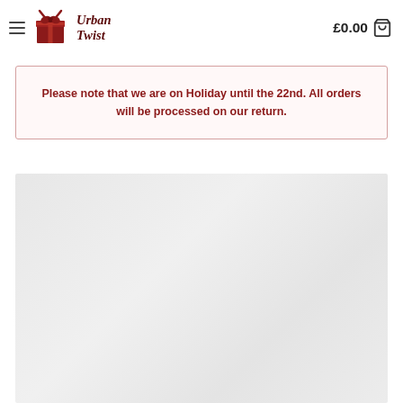Urban Twist | £0.00
Please note that we are on Holiday until the 22nd. All orders will be processed on our return.
[Figure (photo): Light grey placeholder image area, possibly showing faint product imagery.]